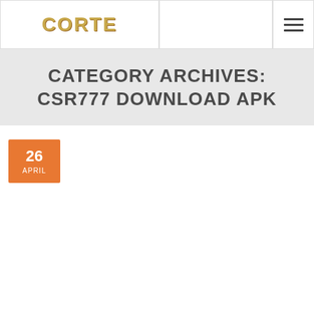CORTE [logo]
CATEGORY ARCHIVES: CSR777 DOWNLOAD APK
26 APRIL